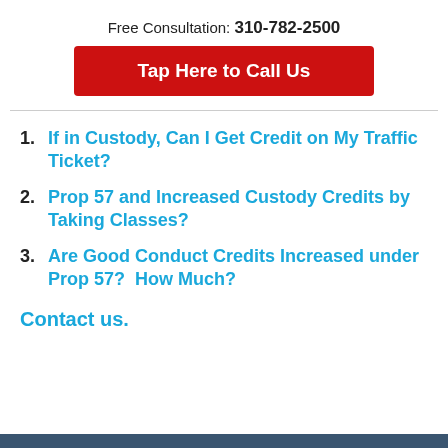Free Consultation: 310-782-2500
Tap Here to Call Us
If in Custody, Can I Get Credit on My Traffic Ticket?
Prop 57 and Increased Custody Credits by Taking Classes?
Are Good Conduct Credits Increased under Prop 57?  How Much?
Contact us.